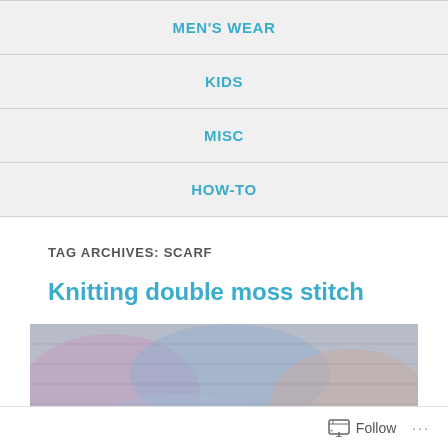MEN'S WEAR
KIDS
MISC
HOW-TO
TAG ARCHIVES: SCARF
Knitting double moss stitch
[Figure (photo): Close-up photograph of knitted double moss stitch fabric in multicolored yarn with pink, blue, grey and white tones]
Follow ...